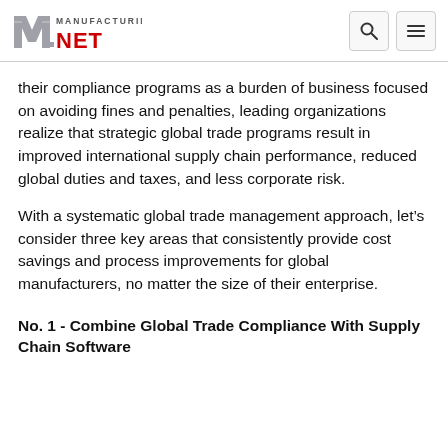Manufacturing.net
their compliance programs as a burden of business focused on avoiding fines and penalties, leading organizations realize that strategic global trade programs result in improved international supply chain performance, reduced global duties and taxes, and less corporate risk.
With a systematic global trade management approach, let’s consider three key areas that consistently provide cost savings and process improvements for global manufacturers, no matter the size of their enterprise.
No. 1 - Combine Global Trade Compliance With Supply Chain Software